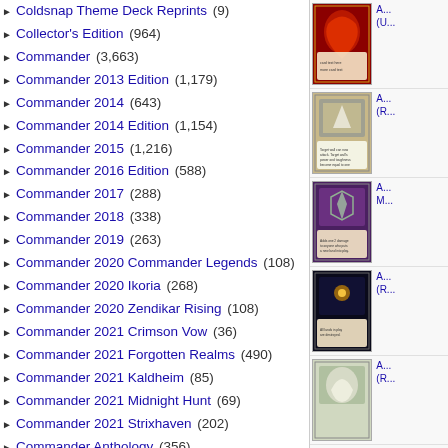Coldsnap Theme Deck Reprints (9)
Collector's Edition (964)
Commander (3,663)
Commander 2013 Edition (1,179)
Commander 2014 (643)
Commander 2014 Edition (1,154)
Commander 2015 (1,216)
Commander 2016 Edition (588)
Commander 2017 (288)
Commander 2018 (338)
Commander 2019 (263)
Commander 2020 Commander Legends (108)
Commander 2020 Ikoria (268)
Commander 2020 Zendikar Rising (108)
Commander 2021 Crimson Vow (36)
Commander 2021 Forgotten Realms (490)
Commander 2021 Kaldheim (85)
Commander 2021 Midnight Hunt (69)
Commander 2021 Strixhaven (202)
Commander Anthology (356)
Commander Anthology Volume II (349)
Commander Collection: Black (12)
Commander Collection: Green (8)
Commander Legends (851)
Commander Legends: Battle for ... (1,618)
[Figure (photo): Magic: The Gathering card image 1]
[Figure (photo): Magic: The Gathering card image 2]
[Figure (photo): Magic: The Gathering card image 3]
[Figure (photo): Magic: The Gathering card image 4]
[Figure (photo): Magic: The Gathering card image 5]